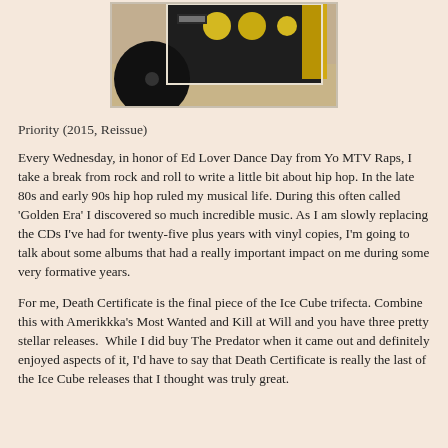[Figure (photo): Photo of a vinyl record album, partially showing the album cover with dark and yellow elements on a beige/carpet background]
Priority (2015, Reissue)
Every Wednesday, in honor of Ed Lover Dance Day from Yo MTV Raps, I take a break from rock and roll to write a little bit about hip hop. In the late 80s and early 90s hip hop ruled my musical life. During this often called 'Golden Era' I discovered so much incredible music. As I am slowly replacing the CDs I've had for twenty-five plus years with vinyl copies, I'm going to talk about some albums that had a really important impact on me during some very formative years.
For me, Death Certificate is the final piece of the Ice Cube trifecta. Combine this with Amerikkka's Most Wanted and Kill at Will and you have three pretty stellar releases.  While I did buy The Predator when it came out and definitely enjoyed aspects of it, I'd have to say that Death Certificate is really the last of the Ice Cube releases that I thought was truly great.